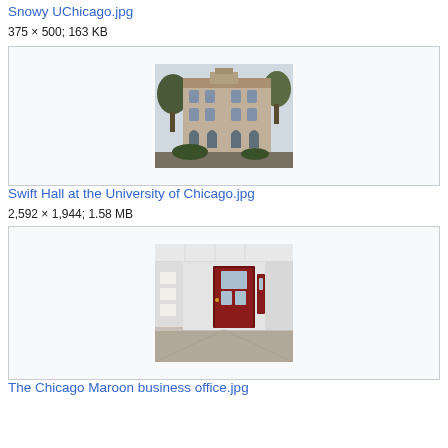Snowy UChicago.jpg
375 × 500; 163 KB
[Figure (photo): A stone Gothic university building (Swift Hall, UChicago) with trees, gray sky]
Swift Hall at the University of Chicago.jpg
2,592 × 1,944; 1.58 MB
[Figure (photo): Interior hallway with white walls and a dark red door with glass window panels]
The Chicago Maroon business office.jpg